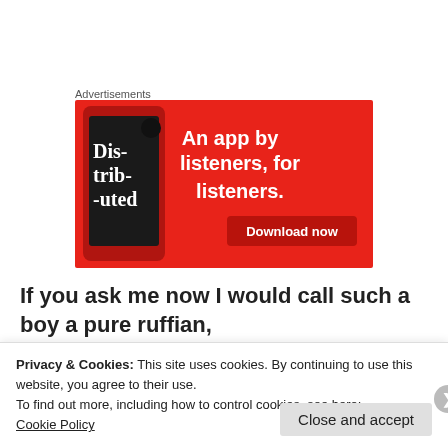Advertisements
[Figure (illustration): Red advertisement banner for a podcast app. Shows a smartphone with 'Dis-tri-bu-ted' text on screen, with white bold text 'An app by listeners, for listeners.' and a dark red 'Download now' button.]
If you ask me now I would call such a boy a pure ruffian,
Privacy & Cookies: This site uses cookies. By continuing to use this website, you agree to their use.
To find out more, including how to control cookies, see here:
Cookie Policy
Close and accept